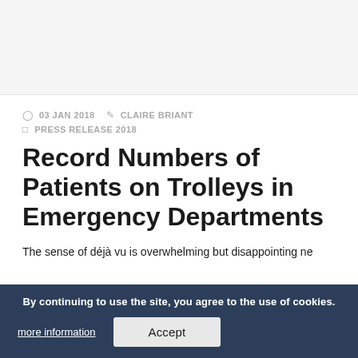03 JAN 2018  CLAIRE BRIANT
PRESS RELEASE 2018
Record Numbers of Patients on Trolleys in Emergency Departments
The sense of déjà vu is overwhelming but disappointing ne...
Today, 656 of our most vulnerable citizens are being boarded on trolleys, the majority of whom are being warehoused for
By continuing to use the site, you agree to the use of cookies.
more information
Accept